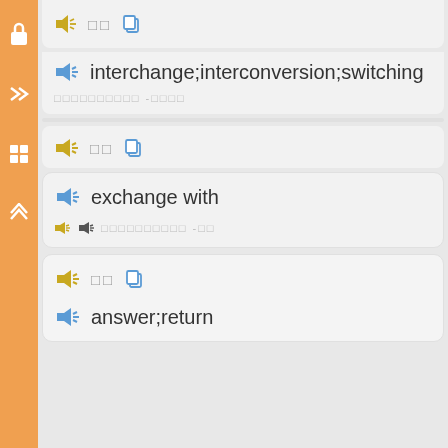[Figure (screenshot): Dictionary/flashcard app UI showing vocabulary entries with speaker icons, Chinese characters, and English definitions]
interchange;interconversion;switching
exchange with
answer;return